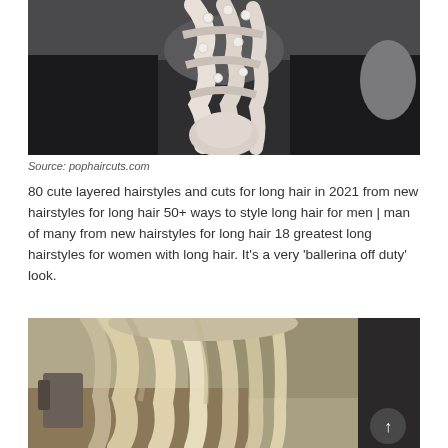[Figure (photo): Photo of a person from behind showing a white/platinum braided updo hairstyle with pearl accessories, wearing a black knit sweater, against a grey background]
Source: pophaircuts.com
80 cute layered hairstyles and cuts for long hair in 2021 from new hairstyles for long hair 50+ ways to style long hair for men | man of many from new hairstyles for long hair 18 greatest long hairstyles for women with long hair. It's a very 'ballerina off duty' look.
[Figure (photo): Photo of the back of a person's head showing long blonde highlighted hair, taken in what appears to be a salon setting]